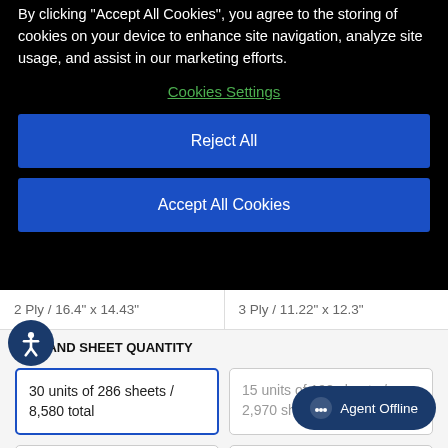By clicking "Accept All Cookies", you agree to the storing of cookies on your device to enhance site navigation, analyze site usage, and assist in our marketing efforts.
Cookies Settings
Reject All
Accept All Cookies
2 Ply / 16.4" x 14.43"
3 Ply / 11.22" x 12.3"
UNIT AND SHEET QUANTITY
30 units of 286 sheets / 8,580 total
15 units of 198 sheets / 2,970 sheets total
60 units of 286 sheets / 17,160 sheets total
15 units ... sheets total
Agent Offline